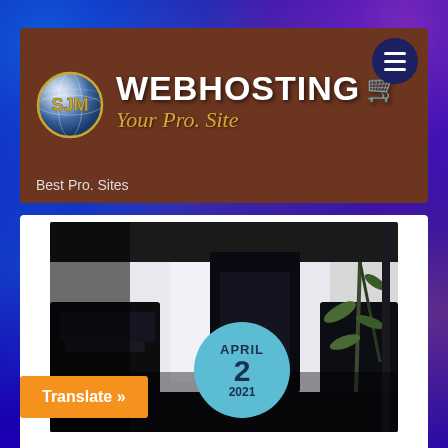[Figure (logo): SJM Webhosting logo with SJM globe icon, WEBHOSTING text with cart icon, and tagline 'Your Pro. Site' on a brown background bar. Hamburger menu button in dark blue circle top right.]
Best Pro. Sites
[Figure (photo): Dark office interior with black furniture, chairs, a desk, and a bamboo plant. Modern minimalist style with bright window in background.]
APRIL 2 2021
Translate »